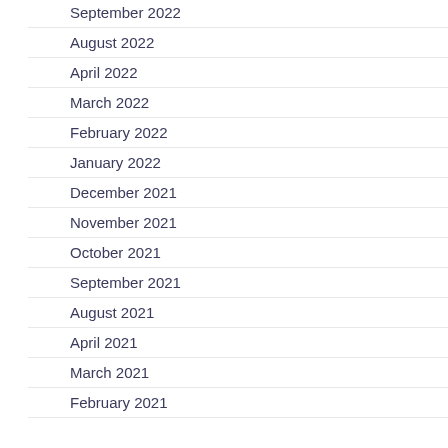September 2022
August 2022
April 2022
March 2022
February 2022
January 2022
December 2021
November 2021
October 2021
September 2021
August 2021
April 2021
March 2021
February 2021